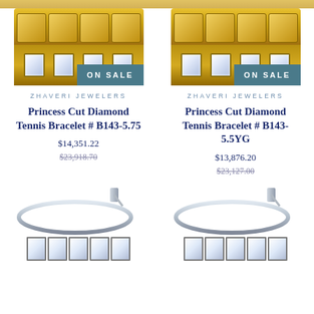[Figure (photo): Princess Cut Diamond Tennis Bracelet in yellow gold with ON SALE badge, top-left product]
[Figure (photo): Princess Cut Diamond Tennis Bracelet in yellow gold with ON SALE badge, top-right product]
ZHAVERI JEWELERS
Princess Cut Diamond Tennis Bracelet # B143-5.75
$14,351.22
$23,918.70
ZHAVERI JEWELERS
Princess Cut Diamond Tennis Bracelet # B143-5.5YG
$13,876.20
$23,127.00
[Figure (photo): White gold diamond tennis bracelet, bottom-left, showing full oval bracelet and princess cut diamonds detail]
[Figure (photo): White gold diamond tennis bracelet, bottom-right, showing full oval bracelet and princess cut diamonds detail]